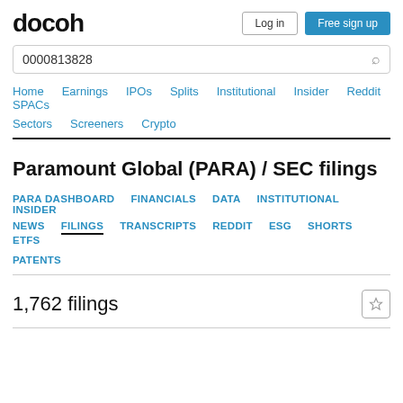docoh
0000813828
Home  Earnings  IPOs  Splits  Institutional  Insider  Reddit  SPACs  Sectors  Screeners  Crypto
Paramount Global (PARA) / SEC filings
PARA DASHBOARD  FINANCIALS  DATA  INSTITUTIONAL  INSIDER  NEWS  FILINGS  TRANSCRIPTS  REDDIT  ESG  SHORTS  ETFS  PATENTS
1,762 filings